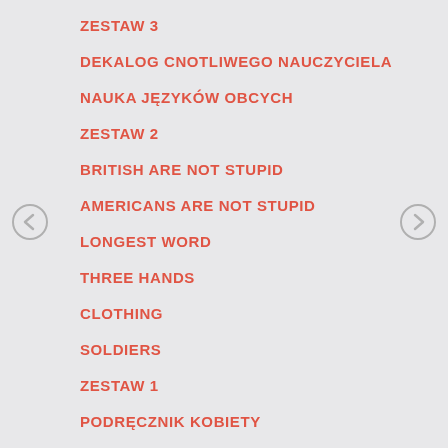ZESTAW 3
DEKALOG CNOTLIWEGO NAUCZYCIELA
NAUKA JĘZYKÓW OBCYCH
ZESTAW 2
BRITISH ARE NOT STUPID
AMERICANS ARE NOT STUPID
LONGEST WORD
THREE HANDS
CLOTHING
SOLDIERS
ZESTAW 1
PODRĘCZNIK KOBIETY